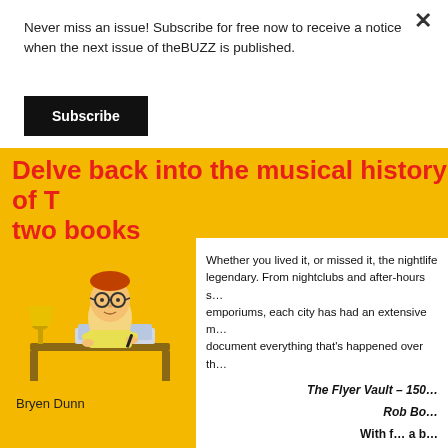Never miss an issue! Subscribe for free now to receive a notice when the next issue of theBUZZ is published.
Subscribe
Delve back into the musical history of T… two books
[Figure (illustration): Cartoon illustration of a person with glasses writing at a desk with a lamp]
Bryen Dunn
Whether you lived it, or missed it, the nightlife legendary. From nightclubs and after-hours s… emporiums, each city has had an extensive m… document everything that's happened over th…
The Flyer Vault – 150…
Rob Bo…
With f… a b…